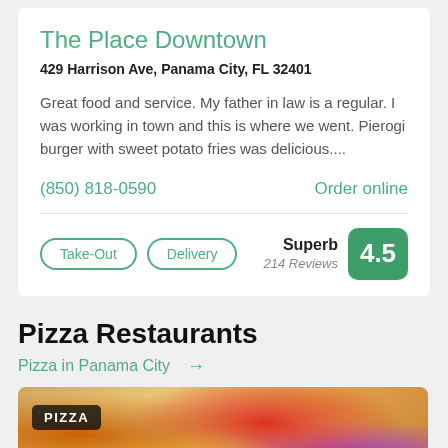The Place Downtown
429 Harrison Ave, Panama City, FL 32401
Great food and service. My father in law is a regular. I was working in town and this is where we went. Pierogi burger with sweet potato fries was delicious....
(850) 818-0590
Order online
Take-Out
Delivery
Superb 214 Reviews 4.5
Pizza Restaurants
Pizza in Panama City →
[Figure (photo): Close-up photo of a pizza topped with cheese, red onions, corn, and bacon, with a PIZZA label overlay in the top left.]